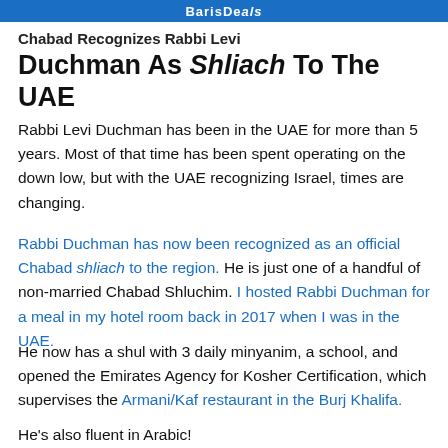BarisDe als
Chabad Recognizes Rabbi Levi Duchman As Shliach To The UAE
Rabbi Levi Duchman has been in the UAE for more than 5 years. Most of that time has been spent operating on the down low, but with the UAE recognizing Israel, times are changing.
Rabbi Duchman has now been recognized as an official Chabad shliach to the region. He is just one of a handful of non-married Chabad Shluchim. I hosted Rabbi Duchman for a meal in my hotel room back in 2017 when I was in the UAE.
He now has a shul with 3 daily minyanim, a school, and opened the Emirates Agency for Kosher Certification, which supervises the Armani/Kaf restaurant in the Burj Khalifa.
He's also fluent in Arabic!